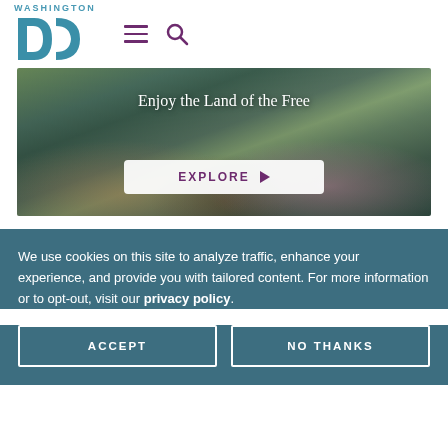Washington DC logo with hamburger menu and search icon
[Figure (photo): People doing outdoor yoga/group exercise, overlaid with text 'Enjoy the Land of the Free' and an EXPLORE button]
We use cookies on this site to analyze traffic, enhance your experience, and provide you with tailored content. For more information or to opt-out, visit our privacy policy.
ACCEPT
NO THANKS